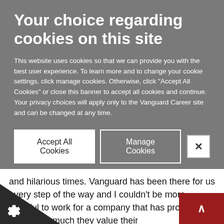Your choice regarding cookies on this site
This website uses cookies so that we can provide you with the best user experience. To learn more and to change your cookie settings, click manage cookies. Otherwise, click "Accept All Cookies" or close this banner to accept all cookies and continue. Your privacy choices will apply only to the Vanguard Career site and can be changed at any time.
and hilarious times. Vanguard has been there for us every step of the way and I couldn't be more grateful to work for a company that has proven and again how much they value their